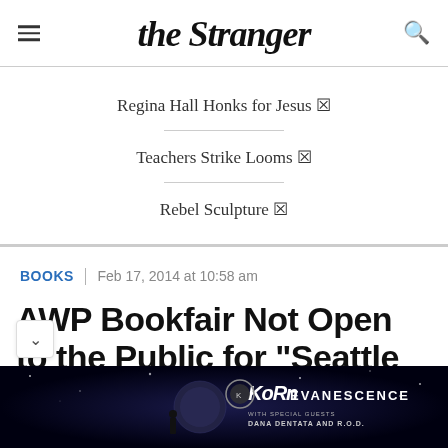the Stranger
Regina Hall Honks for Jesus 🔗
Teachers Strike Looms 🔗
Rebel Sculpture 🔗
BOOKS | Feb 17, 2014 at 10:58 am
AWP Bookfair Not Open to the Public for "Seattle Tax
[Figure (photo): Concert advertisement banner for Korn and Evanescence with special guests Dana Dentata and R.O.D., dark space/night sky background]